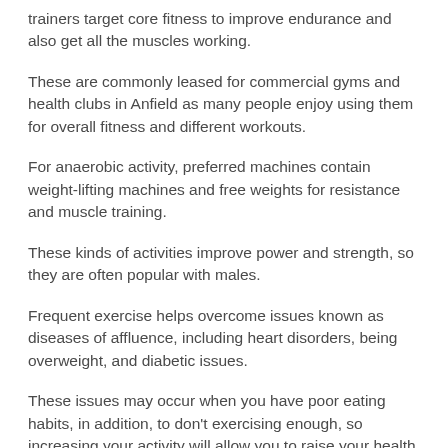trainers target core fitness to improve endurance and also get all the muscles working.
These are commonly leased for commercial gyms and health clubs in Anfield as many people enjoy using them for overall fitness and different workouts.
For anaerobic activity, preferred machines contain weight-lifting machines and free weights for resistance and muscle training.
These kinds of activities improve power and strength, so they are often popular with males.
Frequent exercise helps overcome issues known as diseases of affluence, including heart disorders, being overweight, and diabetic issues.
These issues may occur when you have poor eating habits, in addition, to don't exercising enough, so increasing your activity will allow you to raise your health and well-being.
Other Services We Offer